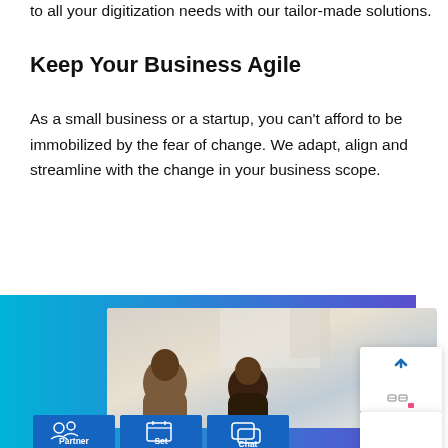to all your digitization needs with our tailor-made solutions.
Keep Your Business Agile
As a small business or a startup, you can't afford to be immobilized by the fear of change. We adapt, align and streamline with the change in your business scope.
[Figure (screenshot): A screenshot showing a business app interface with a blue-to-purple gradient header, a photo of people in a meeting, and action buttons at the bottom: Partner with us, Set a meeting, Chat, Estimate.]